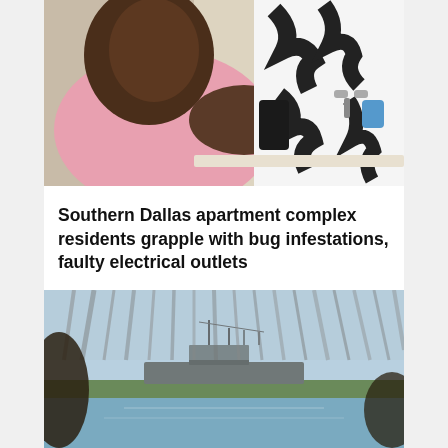[Figure (photo): A woman in a pink top looking at a bathtub, pulling back a black and white patterned shower curtain near faucet handles]
Southern Dallas apartment complex residents grapple with bug infestations, faulty electrical outlets
[Figure (photo): A naval ship visible on water in the distance, viewed through blurred foreground palm fronds and a dark silhouette]